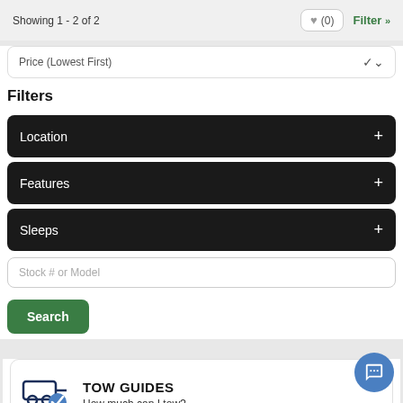Showing 1 - 2 of 2
Price (Lowest First)
Filters
Location
Features
Sleeps
Stock # or Model
Search
TOW GUIDES
How much can I tow?